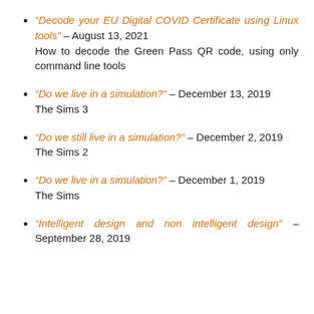“Decode your EU Digital COVID Certificate using Linux tools” – August 13, 2021
How to decode the Green Pass QR code, using only command line tools
“Do we live in a simulation?” – December 13, 2019
The Sims 3
“Do we still live in a simulation?” – December 2, 2019
The Sims 2
“Do we live in a simulation?” – December 1, 2019
The Sims
“Intelligent design and non intelligent design” – September 28, 2019